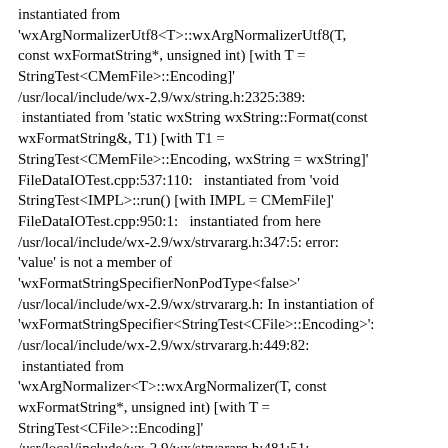instantiated from 'wxArgNormalizerUtf8<T>::wxArgNormalizerUtf8(T, const wxFormatString*, unsigned int) [with T = StringTest<CMemFile>::Encoding]' /usr/local/include/wx-2.9/wx/string.h:2325:389:  instantiated from 'static wxString wxString::Format(const wxFormatString&, T1) [with T1 = StringTest<CMemFile>::Encoding, wxString = wxString]' FileDataIOTest.cpp:537:110:   instantiated from 'void StringTest<IMPL>::run() [with IMPL = CMemFile]' FileDataIOTest.cpp:950:1:   instantiated from here /usr/local/include/wx-2.9/wx/strvararg.h:347:5: error: 'value' is not a member of 'wxFormatStringSpecifierNonPodType<false>' /usr/local/include/wx-2.9/wx/strvararg.h: In instantiation of 'wxFormatStringSpecifier<StringTest<CFile>::Encoding>': /usr/local/include/wx-2.9/wx/strvararg.h:449:82:  instantiated from 'wxArgNormalizer<T>::wxArgNormalizer(T, const wxFormatString*, unsigned int) [with T = StringTest<CFile>::Encoding]' /usr/local/include/wx-2.9/wx/strvararg.h:481:51:  instantiated from 'wxArgNormalizerUtf8<T>::wxArgNormalizerUtf8(T, const wxFormatString*, unsigned int) [with T = StringTest<CFile>::Encoding]'